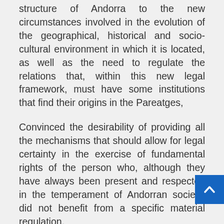structure of Andorra to the new circumstances involved in the evolution of the geographical, historical and socio-cultural environment in which it is located, as well as the need to regulate the relations that, within this new legal framework, must have some institutions that find their origins in the Pareatges,
Convinced the desirability of providing all the mechanisms that should allow for legal certainty in the exercise of fundamental rights of the person who, although they have always been present and respected in the temperament of Andorran society, did not benefit from a specific material regulation,
Determined to persevere in the promotion of values such as freedom, justice, democracy and social progress , and to maintain and strengthen harmonious relations of Andorra with the rest of the world, and especially with the neighboring countries,